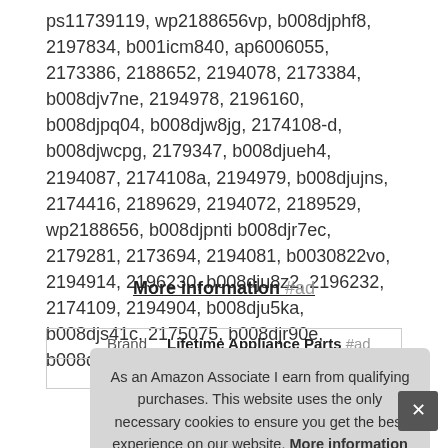ps11739119, wp2188656vp, b008djphf8, 2197834, b001icm840, ap6006055, 2173386, 2188652, 2194078, 2173384, b008djv7ne, 2194978, 2196160, b008djpq04, b008djw8jg, 2174108-d, b008djwcpg, 2179347, b008djueh4, 2194087, 2174108a, 2194979, b008djujns, 2174416, 2189629, 2194072, 2189529, wp2188656, b008djpnti b008djr7ec, 2179281, 2173694, 2194081, b0030822vo, 2194914, 2196230, b008dju8z2, 2196232, 2174109, 2194904, b008dju5ka, b008djs41c, 2175075, b008djr90e, b008djrraq b008DJUX7A.
More information #ad
| Brand | Lifetime Appliance Parts #ad |
| --- | --- |
| Ma |  |
As an Amazon Associate I earn from qualifying purchases. This website uses the only necessary cookies to ensure you get the best experience on our website. More information